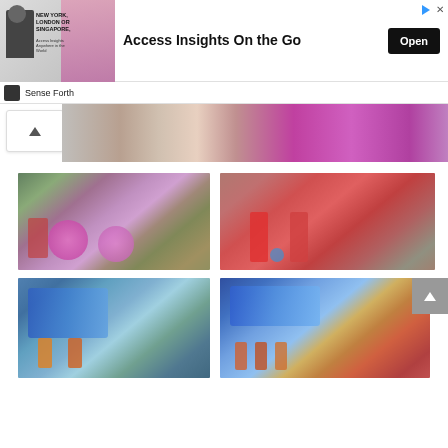[Figure (screenshot): Advertisement banner: image of a man in a suit on the left with text 'NEW YORK, LONDON OR SINGAPORE,' in the ad image block. Headline reads 'Access Insights On the Go' with an 'Open' button on the right. Sponsor row shows 'Sense Forth' logo and name.]
[Figure (photo): Partial banner photo showing a parade scene with costumes, partially cropped at the top.]
[Figure (photo): Photo of a parade with performers in colorful pink flower costumes dancing in a street with trees and buildings in the background.]
[Figure (photo): Photo of performers in red costumes dancing in a street parade with buildings and spectators in the background.]
[Figure (photo): Photo of performers with a large blue dragon costume and performers in red outfits in a street parade.]
[Figure (photo): Photo of performers in blue and red costumes parading down a street lined with palm trees and spectators.]